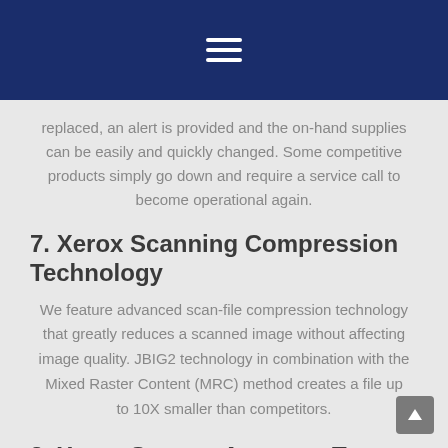replaced, an alert is provided and the on-hand supplies can be easily and quickly changed. Some competitive products simply go down and require a service call to become operational again.
7. Xerox Scanning Compression Technology
We feature advanced scan-file compression technology that greatly reduces a scanned image without affecting image quality. JBIG2 technology in combination with the Mixed Raster Content (MRC) method creates a file up to 10X smaller than competitors.
8. Xerox Scan to Accurate Text Searchable PDF